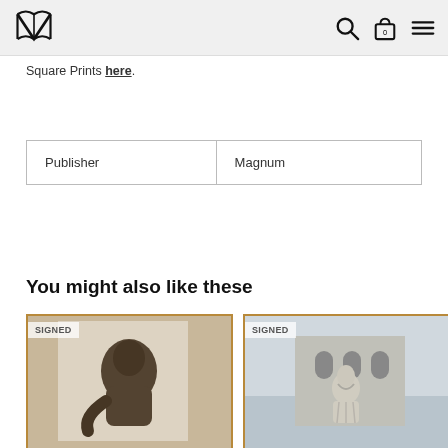Square Prints here.
| Publisher | Magnum |
You might also like these
[Figure (photo): Two framed prints side by side, each with a 'SIGNED' badge. Left: black and white photo of a dark figure in a contemplative pose. Right: black and white photo of a stone statue figure in front of a building with arched windows.]